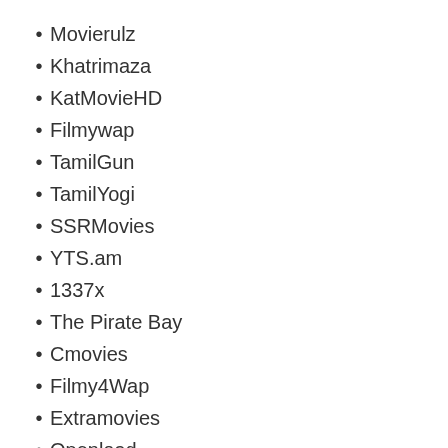Movierulz
Khatrimaza
KatMovieHD
Filmywap
TamilGun
TamilYogi
SSRMovies
YTS.am
1337x
The Pirate Bay
Cmovies
Filmy4Wap
Extramovies
Openload
Serieflix